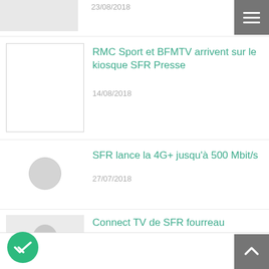[Figure (screenshot): Partial top article thumbnail placeholder (grey rectangle)]
23/08/2018
[Figure (screenshot): Hamburger menu icon button (grey background, three white lines)]
[Figure (screenshot): Article thumbnail placeholder (white rectangle with border)]
RMC Sport et BFMTV arrivent sur le kiosque SFR Presse
14/08/2018
[Figure (screenshot): Article thumbnail placeholder (circle icon on white)]
SFR lance la 4G+ jusqu’à 500 Mbit/s
27/07/2018
[Figure (screenshot): Article thumbnail (grey background with circle icon)]
Connect TV de SFR fourreau
26/07/2018
[Figure (screenshot): Green circular double-check button at bottom left]
[Figure (screenshot): Grey up-arrow button at bottom right]